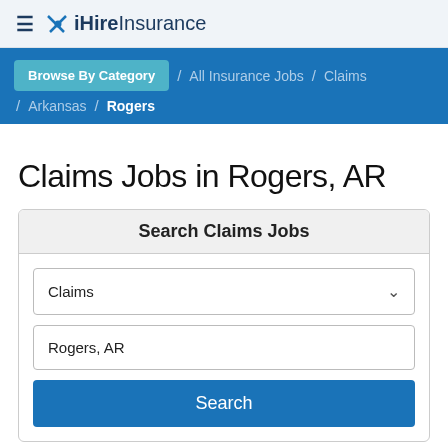iHireInsurance
Browse By Category / All Insurance Jobs / Claims / Arkansas / Rogers
Claims Jobs in Rogers, AR
Search Claims Jobs
Claims
Rogers, AR
Search